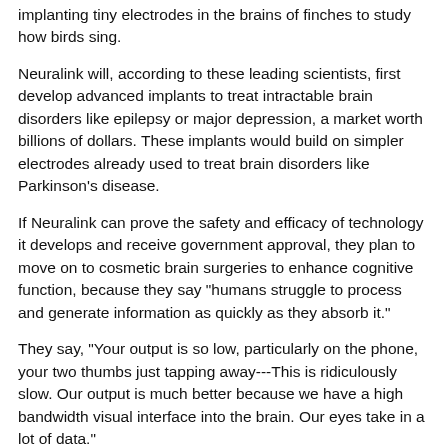implanting tiny electrodes in the brains of finches to study how birds sing.
Neuralink will, according to these leading scientists, first develop advanced implants to treat intractable brain disorders like epilepsy or major depression, a market worth billions of dollars. These implants would build on simpler electrodes already used to treat brain disorders like Parkinson's disease.
If Neuralink can prove the safety and efficacy of technology it develops and receive government approval, they plan to move on to cosmetic brain surgeries to enhance cognitive function, because they say "humans struggle to process and generate information as quickly as they absorb it."
They say, "Your output is so low, particularly on the phone, your two thumbs just tapping away---This is ridiculously slow. Our output is much better because we have a high bandwidth visual interface into the brain. Our eyes take in a lot of data."